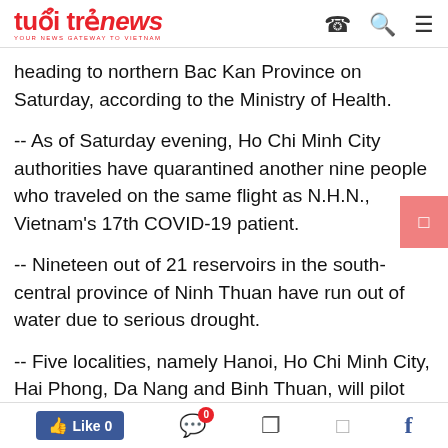tuổi trẻ news — YOUR NEWS GATEWAY TO VIETNAM
heading to northern Bac Kan Province on Saturday, according to the Ministry of Health.
-- As of Saturday evening, Ho Chi Minh City authorities have quarantined another nine people who traveled on the same flight as N.H.N., Vietnam's 17th COVID-19 patient.
-- Nineteen out of 21 reservoirs in the south-central province of Ninh Thuan have run out of water due to serious drought.
-- Five localities, namely Hanoi, Ho Chi Minh City, Hai Phong, Da Nang and Binh Thuan, will pilot the online collection of traffic fines via the national public service portal this month, said Minister and Chairman of the